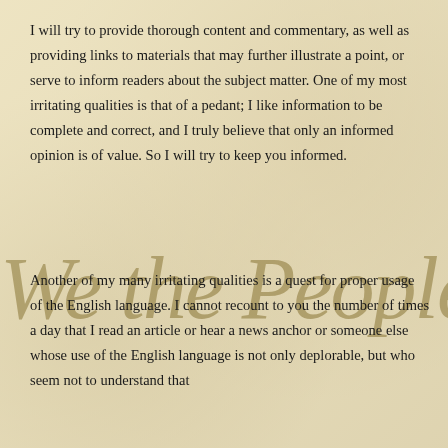I will try to provide thorough content and commentary, as well as providing links to materials that may further illustrate a point, or serve to inform readers about the subject matter. One of my most irritating qualities is that of a pedant; I like information to be complete and correct, and I truly believe that only an informed opinion is of value. So I will try to keep you informed.
[Figure (illustration): Decorative calligraphic script reading 'We the People' in the style of the US Constitution parchment background]
Another of my many irritating qualities is a quest for proper usage of the English language. I cannot recount to you the number of times a day that I read an article or hear a news anchor or someone else whose use of the English language is not only deplorable, but who seem not to understand that